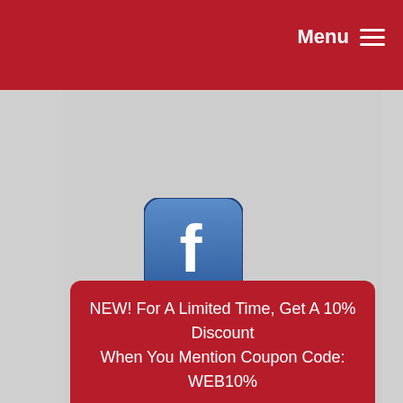Menu
[Figure (logo): Facebook app icon with white 'f' on blue gradient rounded square background]
Attic Solutions
831 Valley Stream Drive
Pingree Grove, IL 60140
(847) 464-1861
NEW! For A Limited Time, Get A 10% Discount When You Mention Coupon Code: WEB10%